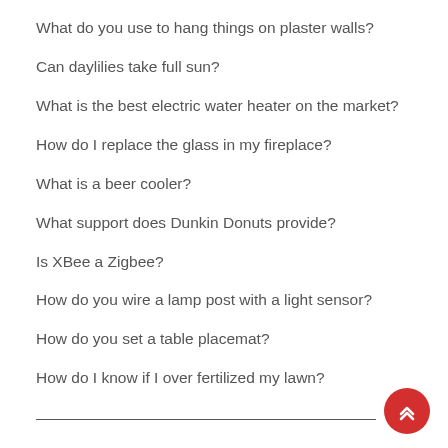What do you use to hang things on plaster walls?
Can daylilies take full sun?
What is the best electric water heater on the market?
How do I replace the glass in my fireplace?
What is a beer cooler?
What support does Dunkin Donuts provide?
Is XBee a Zigbee?
How do you wire a lamp post with a light sensor?
How do you set a table placemat?
How do I know if I over fertilized my lawn?